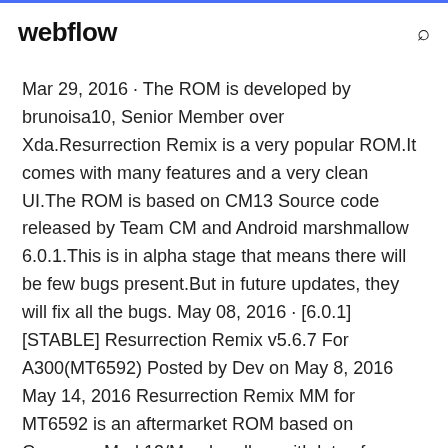webflow
Mar 29, 2016 · The ROM is developed by brunoisa10, Senior Member over Xda.Resurrection Remix is a very popular ROM.It comes with many features and a very clean UI.The ROM is based on CM13 Source code released by Team CM and Android marshmallow 6.0.1.This is in alpha stage that means there will be few bugs present.But in future updates, they will fix all the bugs. May 08, 2016 · [6.0.1][STABLE] Resurrection Remix v5.6.7 For A300(MT6592) Posted by Dev on May 8, 2016 May 14, 2016 Resurrection Remix MM for MT6592 is an aftermarket ROM based on CyanogenMod 13/Marshmallow with lots of